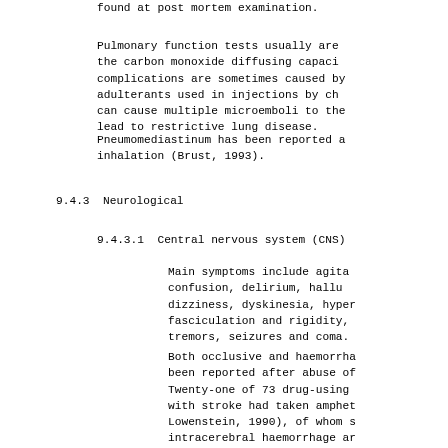found at post mortem examination.
Pulmonary function tests usually are the carbon monoxide diffusing capacity complications are sometimes caused by adulterants used in injections by chi can cause multiple microemboli to the lead to restrictive lung disease.
Pneumomediastinum has been reported a inhalation (Brust, 1993).
9.4.3  Neurological
9.4.3.1  Central nervous system (CNS)
Main symptoms include agita confusion, delirium, hallu dizziness, dyskinesia, hyper fasciculation and rigidity, tremors, seizures and coma.
Both occlusive and haemorrha been reported after abuse of Twenty-one of 73 drug-using with stroke had taken amphet Lowenstein, 1990), of whom s intracerebral haemorrhage an subarachnoid haemorrhage. Pa underlying arteriovenous ma